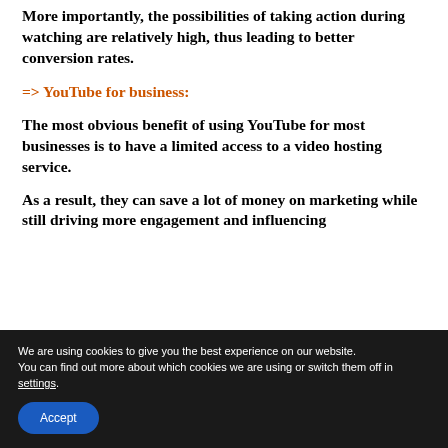More importantly, the possibilities of taking action during watching are relatively high, thus leading to better conversion rates.
=> YouTube for business:
The most obvious benefit of using YouTube for most businesses is to have a limited access to a video hosting service.
As a result, they can save a lot of money on marketing while still driving more engagement and influencing consumer behavior by interacting with content...
We are using cookies to give you the best experience on our website.
You can find out more about which cookies we are using or switch them off in settings.